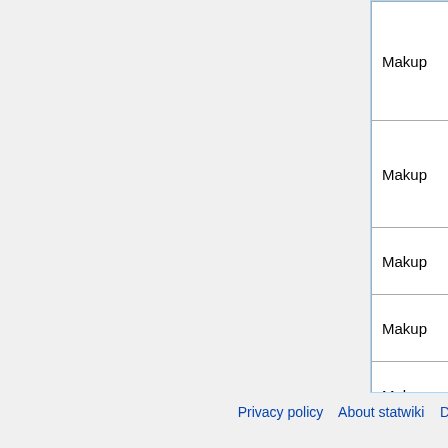| Type | Author | Number | Title |
| --- | --- | --- | --- |
| Makup | Ruijie Zhang | 1 | Search Efficient Scale Architecture Dense Predic... |
| Makup | Ahmed Afify | 2 | Don't D... Learning Increas... Batch ... |
| Makup |  |  |  |
| Makup |  |  |  |
| Makup |  |  |  |
| Makup |  |  |  |
Privacy policy   About statwiki   Disclaimers